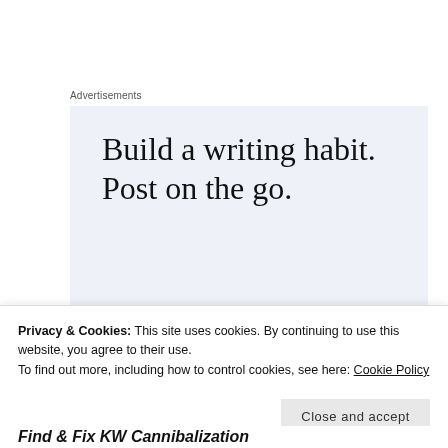Advertisements
[Figure (screenshot): WordPress app advertisement with light blue background. Large serif text reads 'Build a writing habit. Post on the go.' with a blue 'GET THE APP' call-to-action link and a WordPress circular logo icon.]
Privacy & Cookies: This site uses cookies. By continuing to use this website, you agree to their use.
To find out more, including how to control cookies, see here: Cookie Policy
Close and accept
Find & Fix KW Cannibalization